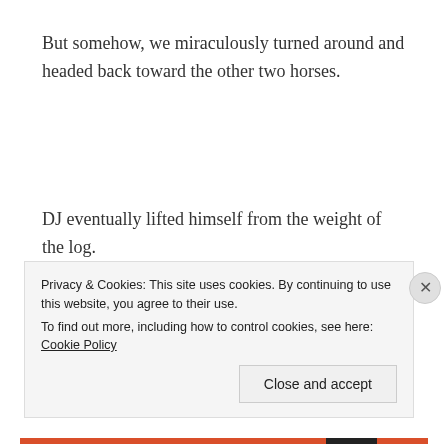But somehow, we miraculously turned around and headed back toward the other two horses.
DJ eventually lifted himself from the weight of the log.
And then he freed Phillipa.
Her jeans were torn and bloodied
Privacy & Cookies: This site uses cookies. By continuing to use this website, you agree to their use.
To find out more, including how to control cookies, see here: Cookie Policy
Close and accept